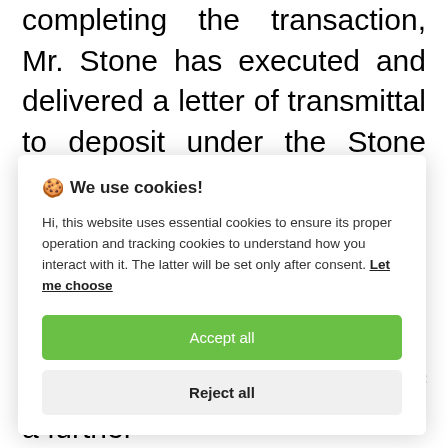completing the transaction, Mr. Stone has executed and delivered a letter of transmittal to deposit under the Stone Offer all 728 Debentures that he beneficially owns, subject to acceptance in conjunction with the closing of the
🍪 We use cookies!
Hi, this website uses essential cookies to ensure its proper operation and tracking cookies to understand how you interact with it. The latter will be set only after consent. Let me choose
Accept all
Reject all
commitment for the deposit of a further